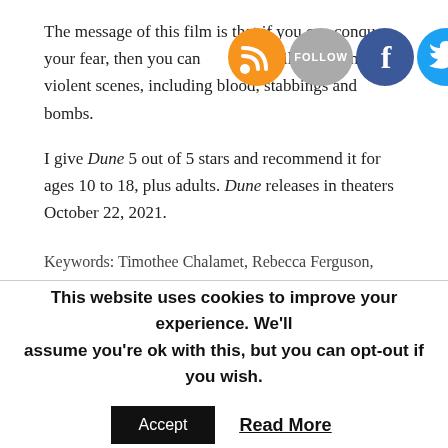The message of this film is that if you can conquer your fear, then you can conquer anything. The film does include violent scenes, including blood, stabbings and bombs.
[Figure (other): Social media icons: RSS feed (orange), Follow button (grey), Facebook (blue), Twitter (blue)]
I give Dune 5 out of 5 stars and recommend it for ages 10 to 18, plus adults. Dune releases in theaters October 22, 2021.
Keywords: Timothee Chalamet, Rebecca Ferguson, Oscar Isaac, Jason Momoa, Stellan Skarsgard,
This website uses cookies to improve your experience. We'll assume you're ok with this, but you can opt-out if you wish.